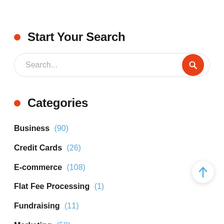Start Your Search
[Figure (screenshot): Search input box with placeholder text 'Search...' and an orange circular search button on the right]
Categories
Business (90)
Credit Cards (26)
E-commerce (108)
Flat Fee Processing (1)
Fundraising (11)
Marketing (50)